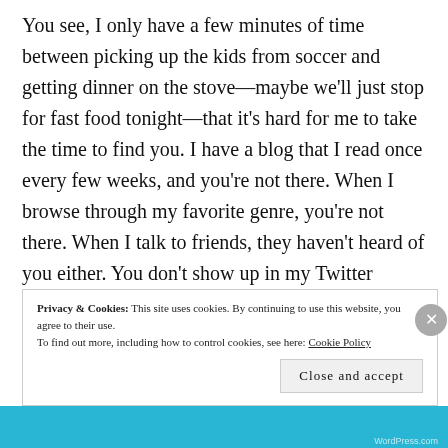You see, I only have a few minutes of time between picking up the kids from soccer and getting dinner on the stove—maybe we'll just stop for fast food tonight—that it's hard for me to take the time to find you. I have a blog that I read once every few weeks, and you're not there. When I browse through my favorite genre, you're not there. When I talk to friends, they haven't heard of you either. You don't show up in my Twitter stream.
Privacy & Cookies: This site uses cookies. By continuing to use this website, you agree to their use. To find out more, including how to control cookies, see here: Cookie Policy
Close and accept